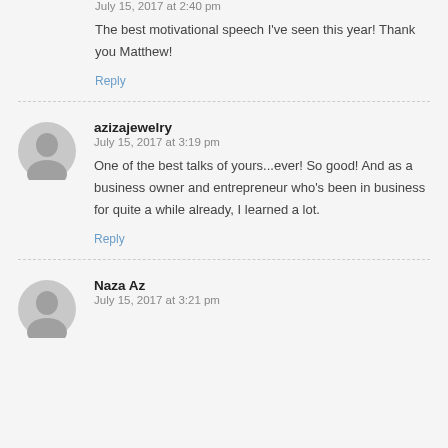July 15, 2017 at 2:40 pm
The best motivational speech I've seen this year! Thank you Matthew!
Reply
azizajewelry
July 15, 2017 at 3:19 pm
One of the best talks of yours...ever! So good! And as a business owner and entrepreneur who's been in business for quite a while already, I learned a lot.
Reply
Naza Az
July 15, 2017 at 3:21 pm